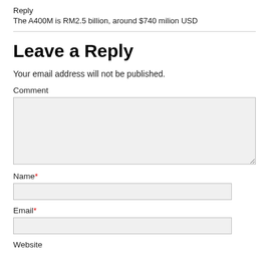Reply
The A400M is RM2.5 billion, around $740 milion USD
Leave a Reply
Your email address will not be published.
Comment
Name*
Email*
Website